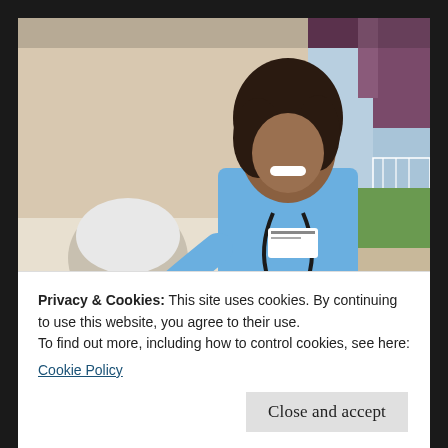[Figure (photo): A smiling female nurse in blue scrubs with a stethoscope and name badge, talking to an elderly patient. Indoor setting with a window in the background showing greenery. Video player interface with playback controls visible.]
arden courts of annandale Licensed
Privacy & Cookies: This site uses cookies. By continuing to use this website, you agree to their use.
To find out more, including how to control cookies, see here:
Cookie Policy
Close and accept